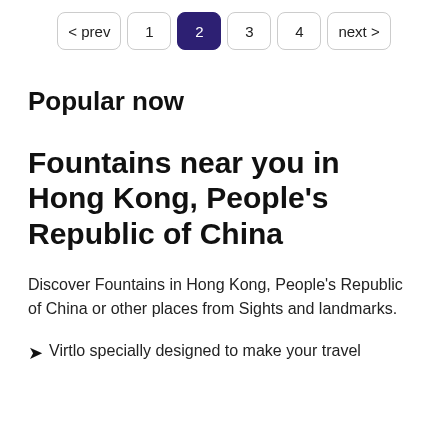< prev  1  2  3  4  next >
Popular now
Fountains near you in Hong Kong, People's Republic of China
Discover Fountains in Hong Kong, People's Republic of China or other places from Sights and landmarks.
Virtlo specially designed to make your travel